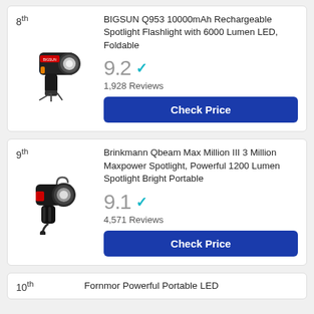8th
[Figure (photo): BIGSUN Q953 spotlight flashlight product image showing a black handheld spotlight with a tripod attachment]
BIGSUN Q953 10000mAh Rechargeable Spotlight Flashlight with 6000 Lumen LED, Foldable
9.2 ✓
1,928 Reviews
Check Price
9th
[Figure (photo): Brinkmann Qbeam Max Million III spotlight product image showing a black handheld spotlight with a cord and handle]
Brinkmann Qbeam Max Million III 3 Million Maxpower Spotlight, Powerful 1200 Lumen Spotlight Bright Portable
9.1 ✓
4,571 Reviews
Check Price
10th
Fornmor Powerful Portable LED